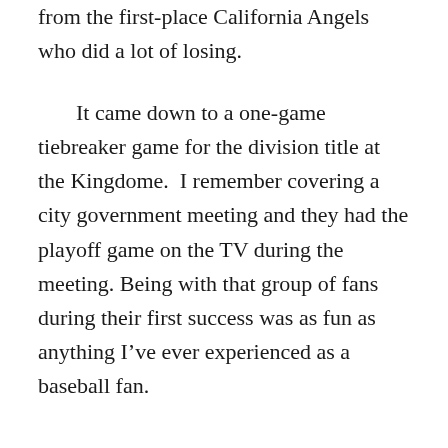from the first-place California Angels who did a lot of losing.
It came down to a one-game tiebreaker game for the division title at the Kingdome. I remember covering a city government meeting and they had the playoff game on the TV during the meeting. Being with that group of fans during their first success was as fun as anything I've ever experienced as a baseball fan.